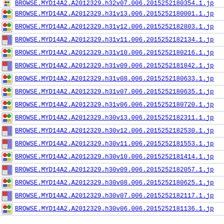BROWSE.MYD14A2.A2012329.h32v07.006.2015252180354.1.jp
BROWSE.MYD14A2.A2012329.h31v13.006.2015252180001.1.jp
BROWSE.MYD14A2.A2012329.h31v12.006.2015252182803.1.jp
BROWSE.MYD14A2.A2012329.h31v11.006.2015252182134.1.jp
BROWSE.MYD14A2.A2012329.h31v10.006.2015252180216.1.jp
BROWSE.MYD14A2.A2012329.h31v09.006.2015252181842.1.jp
BROWSE.MYD14A2.A2012329.h31v08.006.2015252180633.1.jp
BROWSE.MYD14A2.A2012329.h31v07.006.2015252180635.1.jp
BROWSE.MYD14A2.A2012329.h31v06.006.2015252180720.1.jp
BROWSE.MYD14A2.A2012329.h30v13.006.2015252182311.1.jp
BROWSE.MYD14A2.A2012329.h30v12.006.2015252182530.1.jp
BROWSE.MYD14A2.A2012329.h30v11.006.2015252181553.1.jp
BROWSE.MYD14A2.A2012329.h30v10.006.2015252181414.1.jp
BROWSE.MYD14A2.A2012329.h30v09.006.2015252182057.1.jp
BROWSE.MYD14A2.A2012329.h30v08.006.2015252180625.1.jp
BROWSE.MYD14A2.A2012329.h30v07.006.2015252182117.1.jp
BROWSE.MYD14A2.A2012329.h30v06.006.2015252181136.1.jp